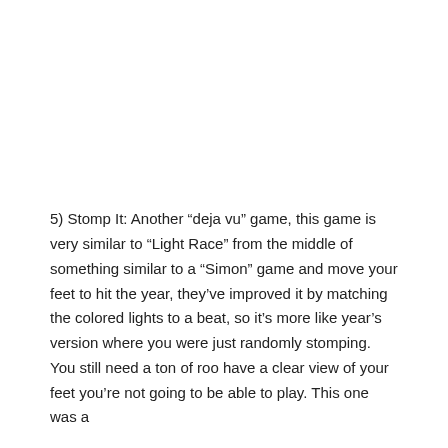5) Stomp It: Another “deja vu” game, this game is very similar to “Light Race” from the middle of something similar to a “Simon” game and move your feet to hit the year, they’ve improved it by matching the colored lights to a beat, so it’s more like year’s version where you were just randomly stomping. You still need a ton of roo have a clear view of your feet you’re not going to be able to play. This one was a